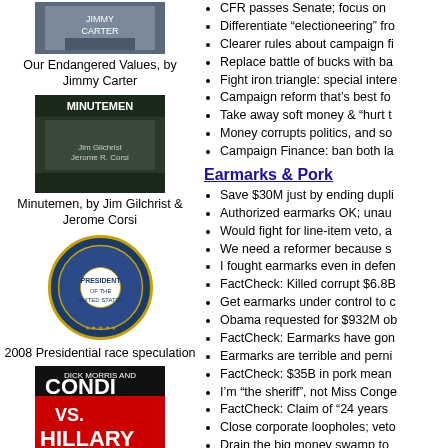[Figure (photo): Book cover: Our Endangered Values by Jimmy Carter]
Our Endangered Values, by Jimmy Carter
[Figure (photo): Book cover: Minutemen by Jim Gilchrist & Jerome Corsi]
Minutemen, by Jim Gilchrist & Jerome Corsi
[Figure (illustration): Presidential seal]
2008 Presidential race speculation
[Figure (photo): Book cover: Condi vs. Hillary: The Next Great Presidential Race]
Condi vs. Hillary: The Next Great Presidential Race
[Figure (photo): Photo of a woman]
CFR passes Senate; focus on
Differentiate “electioneering” fro
Clearer rules about campaign fi
Replace battle of bucks with ba
Fight iron triangle: special intere
Campaign reform that’s best fo
Take away soft money & “hurt t
Money corrupts politics, and so
Campaign Finance: ban both la
Earmarks & Pork
Save $30M just by ending dupli
Authorized earmarks OK; unau
Would fight for line-item veto, a
We need a reformer because s
I fought earmarks even in defen
FactCheck: Killed corrupt $6.8B
Get earmarks under control to c
Obama requested for $932M ob
FactCheck: Earmarks have gon
Earmarks are terrible and perni
FactCheck: $35B in pork mean
I’m “the sheriff”, not Miss Conge
FactCheck: Claim of “24 years
Close corporate loopholes; veto
Drain the big money swamp to
End sugar subsidy; corporate w
Voting Record
Gets legislation passed despit